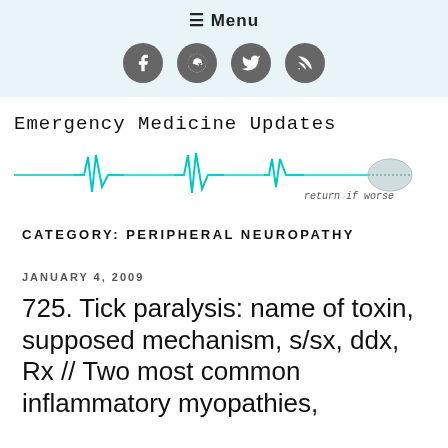≡ Menu
[Figure (logo): Social media icons: Facebook, Reddit, Twitter, RSS feed — grey circles with white icons]
[Figure (logo): Emergency Medicine Updates logo with ECG heartbeat waveform in teal and text 'return if worse']
CATEGORY: PERIPHERAL NEUROPATHY
JANUARY 4, 2009
725. Tick paralysis: name of toxin, supposed mechanism, s/sx, ddx, Rx // Two most common inflammatory myopathies,